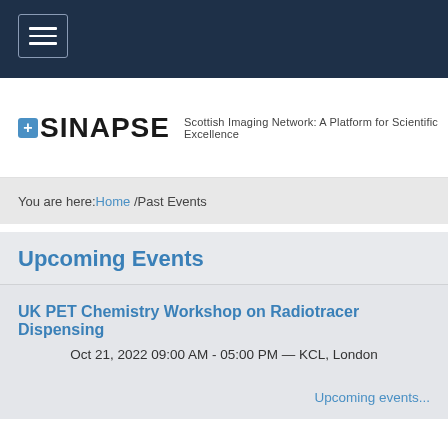[Figure (screenshot): Navigation bar with hamburger menu icon on dark navy background]
[Figure (logo): SINAPSE logo with blue plus icon and tagline: Scottish Imaging Network: A Platform for Scientific Excellence]
You are here: Home / Past Events
Upcoming Events
UK PET Chemistry Workshop on Radiotracer Dispensing
Oct 21, 2022 09:00 AM - 05:00 PM — KCL, London
Upcoming events...